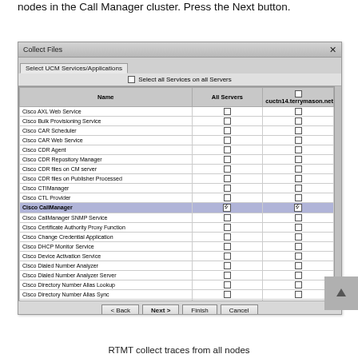nodes in the Call Manager cluster. Press the Next button.
[Figure (screenshot): Dialog box titled 'Collect Files' showing a 'Select UCM Services/Applications' tab. A table lists Cisco services with checkboxes in 'All Servers' and 'cuctn14.terrymason.net' columns. 'Cisco CallManager' row is highlighted in blue with checkmarks in both columns. Buttons at bottom: Back, Next, Finish, Cancel.]
RTMT collect traces from all nodes